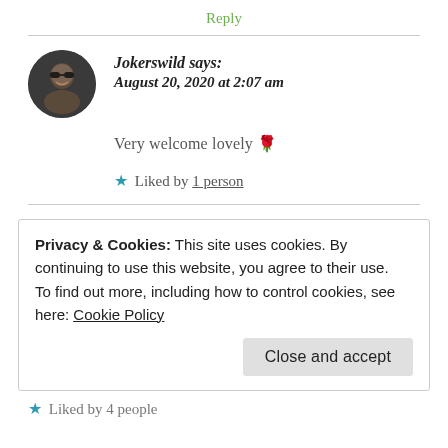Reply
Jokerswild says: August 20, 2020 at 2:07 am
[Figure (photo): Circular avatar photo of a person wearing sunglasses, smiling]
Very welcome lovely 🌹
★ Liked by 1 person
Privacy & Cookies: This site uses cookies. By continuing to use this website, you agree to their use.
To find out more, including how to control cookies, see here: Cookie Policy
Close and accept
★ Liked by 4 people